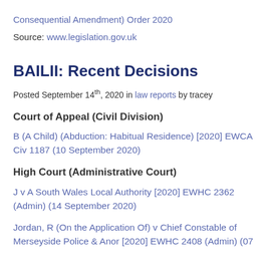Consequential Amendment) Order 2020
Source: www.legislation.gov.uk
BAILII: Recent Decisions
Posted September 14th, 2020 in law reports by tracey
Court of Appeal (Civil Division)
B (A Child) (Abduction: Habitual Residence) [2020] EWCA Civ 1187 (10 September 2020)
High Court (Administrative Court)
J v A South Wales Local Authority [2020] EWHC 2362 (Admin) (14 September 2020)
Jordan, R (On the Application Of) v Chief Constable of Merseyside Police & Anor [2020] EWHC 2408 (Admin) (07...